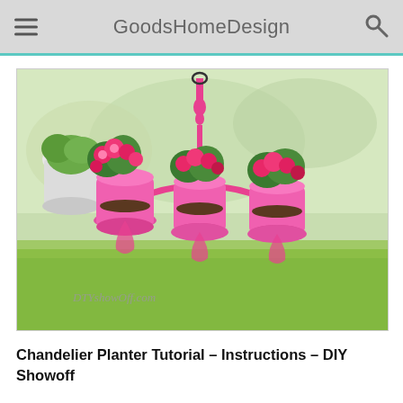GoodsHomeDesign
[Figure (photo): A pink chandelier repurposed as a hanging planter with pink flowers and green plants in pink pots, suspended outdoors over a green lawn. Watermark reads DTYshowOff.com]
Chandelier Planter Tutorial – Instructions – DIY Showoff